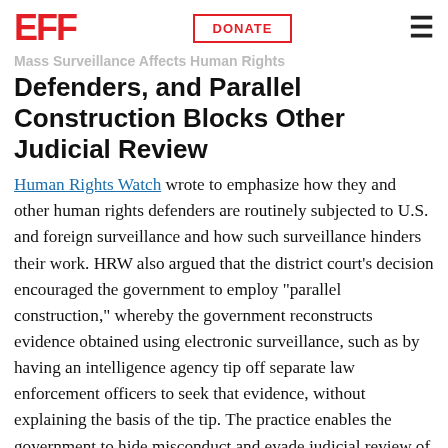EFF | DONATE | menu
Mass Surveillance Affects Human Rights
Defenders, and Parallel Construction Blocks Other Judicial Review
Human Rights Watch wrote to emphasize how they and other human rights defenders are routinely subjected to U.S. and foreign surveillance and how such surveillance hinders their work. HRW also argued that the district court's decision encouraged the government to employ "parallel construction," whereby the government reconstructs evidence obtained using electronic surveillance, such as by having an intelligence agency tip off separate law enforcement officers to seek that evidence, without explaining the basis of the tip. The practice enables the government to hide misconduct and evade judicial review of its actions.